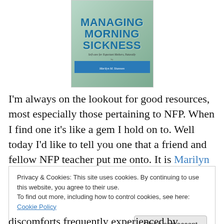[Figure (illustration): Book cover of 'Managing Morning Sickness' by Marilyn M. Shannon. Teal/green background with bold blue title text, subtitle 'Self-care for Expectant Mothers, Naturally', and author name on a blue bar at the bottom.]
I'm always on the lookout for good resources, most especially those pertaining to NFP. When I find one it's like a gem I hold on to. Well today I'd like to tell you one that a friend and fellow NFP teacher put me onto. It is Marilyn M.
Privacy & Cookies: This site uses cookies. By continuing to use this website, you agree to their use.
To find out more, including how to control cookies, see here: Cookie Policy
discomforts frequently experienced by pregnant mothers